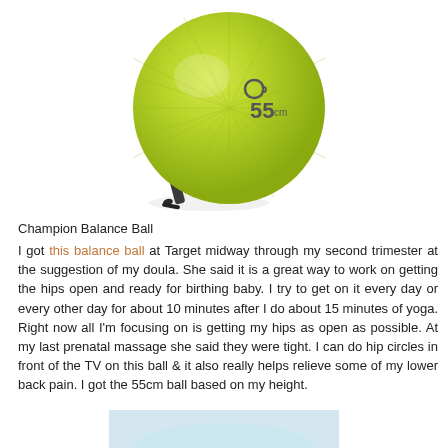[Figure (photo): A lime-green Champion balance ball labeled '55cm' with a logo, and a small black hand pump beside it.]
Champion Balance Ball
I got this balance ball at Target midway through my second trimester at the suggestion of my doula. She said it is a great way to work on getting the hips open and ready for birthing baby. I try to get on it every day or every other day for about 10 minutes after I do about 15 minutes of yoga. Right now all I'm focusing on is getting my hips as open as possible. At my last prenatal massage she said they were tight. I can do hip circles in front of the TV on this ball & it also really helps relieve some of my lower back pain. I got the 55cm ball based on my height.
[Figure (photo): Partial view of another image at the bottom of the page, appears to be light blue/white.]